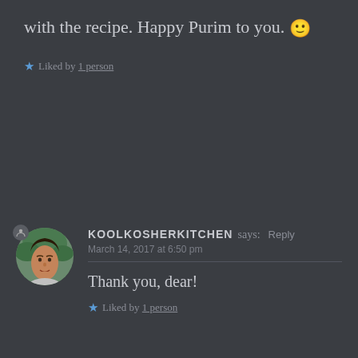with the recipe. Happy Purim to you. 🙂
★ Liked by 1 person
KOOLKOSHERKITCHEN says: Reply
March 14, 2017 at 6:50 pm
Thank you, dear!
★ Liked by 1 person